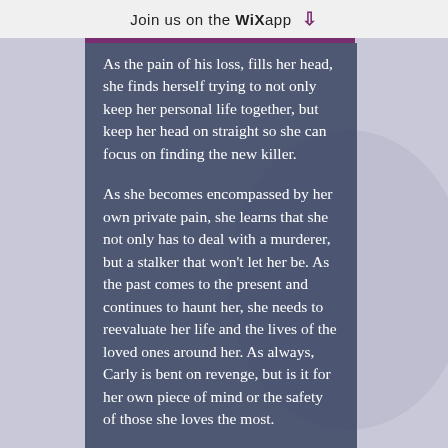Join us on the WiX app ↓
As the pain of his loss, fills her head, she finds herself trying to not only keep her personal life together, but keep her head on straight so she can focus on finding the new killer.
As she becomes encompassed by her own private pain, she learns that she not only has to deal with a murderer, but a stalker that won't let her be. As the past comes to the present and continues to haunt her, she needs to reevaluate her life and the lives of the loved ones around her. As always, Carly is bent on revenge, but is it for her own piece of mind or the safety of those she loves the most.